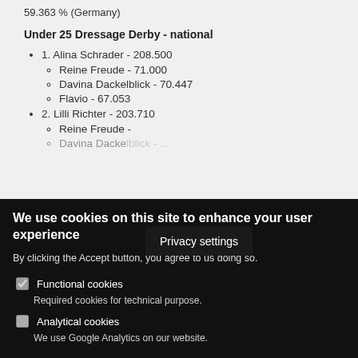59.363 % (Germany)
Under 25 Dressage Derby - national
1. Alina Schrader - 208.500
Reine Freude - 71.000
Davina Dackelblick - 70.447
Flavio - 67.053
2. Lilli Richter - 203.710
Reine Freude - [partially obscured]
Davina Dackelblick - [partially obscured]
[Figure (screenshot): Privacy settings tooltip overlay on dark background]
We use cookies on this site to enhance your user experience
By clicking the Accept button, you agree to us doing so.
Functional cookies
Required cookies for technical purpose.
Analytical cookies
We use Google Analytics on our website.